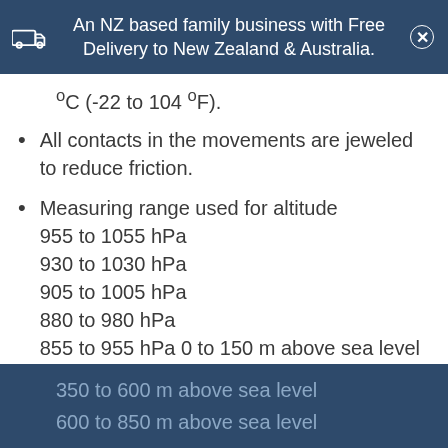An NZ based family business with Free Delivery to New Zealand & Australia.
°C (-22 to 104 °F).
All contacts in the movements are jeweled to reduce friction.
Measuring range used for altitude
955 to 1055 hPa
930 to 1030 hPa
905 to 1005 hPa
880 to 980 hPa
855 to 955 hPa 0 to 150 m above sea level
150 to 350 m above sea level
350 to 600 m above sea level
600 to 850 m above sea level